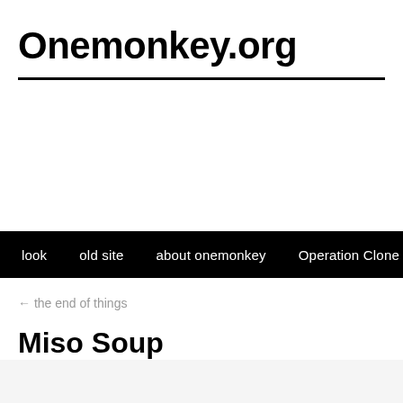Onemonkey.org
look   old site   about onemonkey   Operation Clone Jesus   Cont
← the end of things
Miso Soup